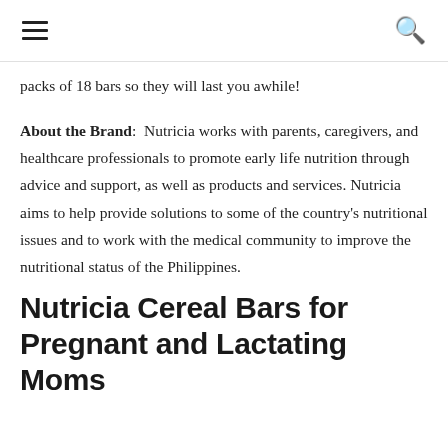≡  🔍
packs of 18 bars so they will last you awhile!
About the Brand:  Nutricia works with parents, caregivers, and healthcare professionals to promote early life nutrition through advice and support, as well as products and services. Nutricia aims to help provide solutions to some of the country's nutritional issues and to work with the medical community to improve the nutritional status of the Philippines.
Nutricia Cereal Bars for Pregnant and Lactating Moms